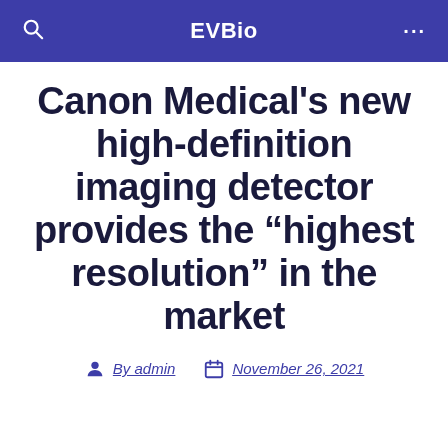EVBio
Canon Medical's new high-definition imaging detector provides the “highest resolution” in the market
By admin   November 26, 2021